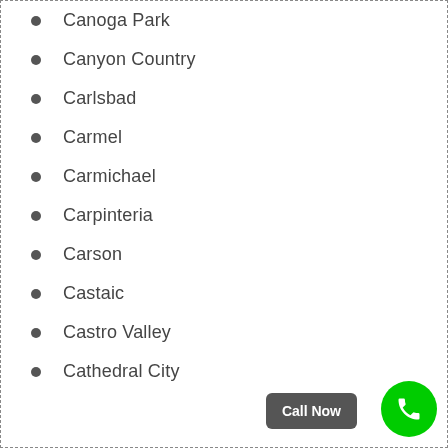Canoga Park
Canyon Country
Carlsbad
Carmel
Carmichael
Carpinteria
Carson
Castaic
Castro Valley
Cathedral City